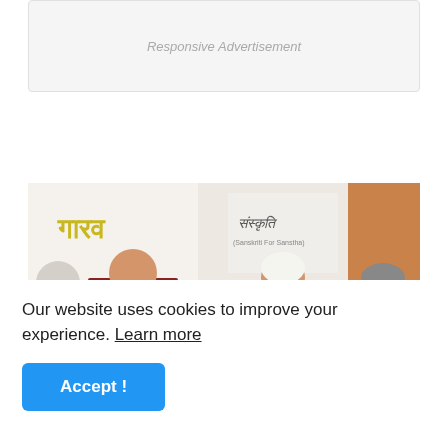[Figure (other): Responsive Advertisement placeholder box with gray background]
[Figure (photo): Group photo of people at an award ceremony. An Indian man wearing a yellow shawl and red bindi presents an award to a woman with a pink dupatta. Two Arab men in traditional white keffiyeh are also present. Background shows Hindi text banners including what appears to say 'Gaurav' and a logo that reads 'Sanskriti' (for Indians).]
Our website uses cookies to improve your experience. Learn more
Accept !